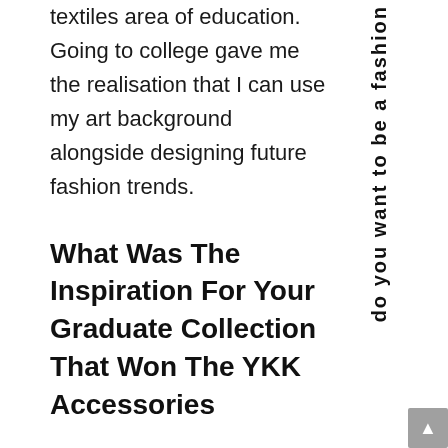textiles area of education. Going to college gave me the realisation that I can use my art background alongside designing future fashion trends.
What Was The Inspiration For Your Graduate Collection That Won The YKK Accessories Award?
do you want to be a fashion